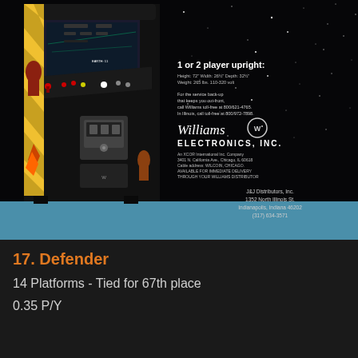[Figure (photo): Vintage Williams Electronics Defender arcade game advertisement. Shows the upright arcade cabinet with Defender artwork (space/sci-fi imagery with robot figures in red and yellow on black cabinet sides) against a starry black space background. Cabinet has a coin door, control panel with joystick and buttons, and a monitor. Blue floor strip at the bottom. Text overlay on right side reads '1 or 2 player upright:' with specs, Williams service text, Williams Electronics Inc. logo and company address, and J&J Distributors distributor information.]
17. Defender
14 Platforms - Tied for 67th place
0.35 P/Y